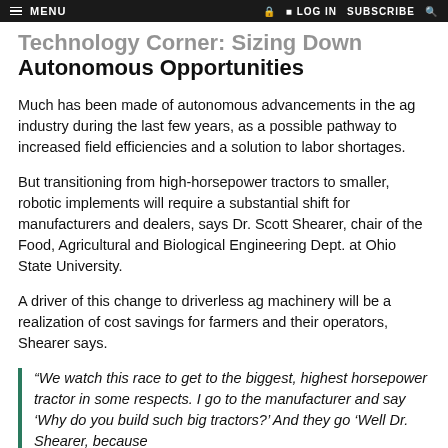MENU   LOG IN   SUBSCRIBE
Technology Corner: Sizing Down Autonomous Opportunities
Much has been made of autonomous advancements in the ag industry during the last few years, as a possible pathway to increased field efficiencies and a solution to labor shortages.
But transitioning from high-horsepower tractors to smaller, robotic implements will require a substantial shift for manufacturers and dealers, says Dr. Scott Shearer, chair of the Food, Agricultural and Biological Engineering Dept. at Ohio State University.
A driver of this change to driverless ag machinery will be a realization of cost savings for farmers and their operators, Shearer says.
“We watch this race to get to the biggest, highest horsepower tractor in some respects. I go to the manufacturer and say ‘Why do you build such big tractors?’ And they go ‘Well Dr. Shearer, because